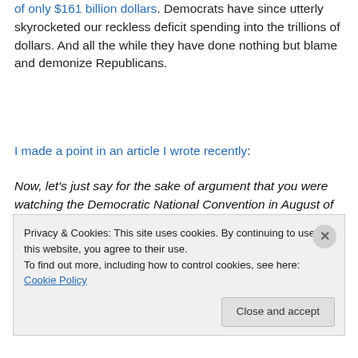of only $161 billion dollars. Democrats have since utterly skyrocketed our reckless deficit spending into the trillions of dollars. And all the while they have done nothing but blame and demonize Republicans.
I made a point in an article I wrote recently:
Now, let's just say for the sake of argument that you were watching the Democratic National Convention in August of 2008 and came to the belief that the mainstream media coverage was so blatantly biased and dishonest that Barack Obama was going to win the election. And you had
Privacy & Cookies: This site uses cookies. By continuing to use this website, you agree to their use.
To find out more, including how to control cookies, see here: Cookie Policy
Close and accept